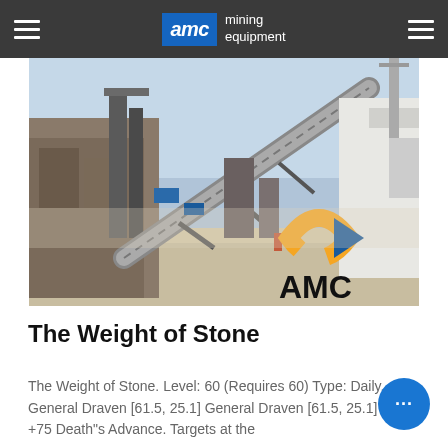AMC mining equipment
[Figure (photo): Aerial/ground-level view of a stone quarry mining facility with conveyor belts, industrial structures, and the AMC Mining Equipment logo watermark in the bottom right corner.]
The Weight of Stone
The Weight of Stone. Level: 60 (Requires 60) Type: Daily. General Draven [61.5, 25.1] General Draven [61.5, 25.1] Rep: +75 Death"s Advance. Targets at the